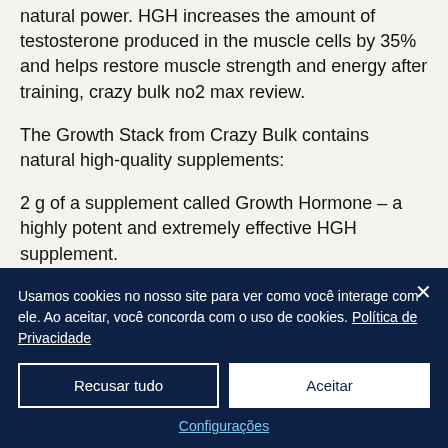natural power. HGH increases the amount of testosterone produced in the muscle cells by 35% and helps restore muscle strength and energy after training, crazy bulk no2 max review.
The Growth Stack from Crazy Bulk contains natural high-quality supplements:
2 g of a supplement called Growth Hormone – a highly potent and extremely effective HGH supplement.
Usamos cookies no nosso site para ver como você interage com ele. Ao aceitar, você concorda com o uso de cookies. Política de Privacidade